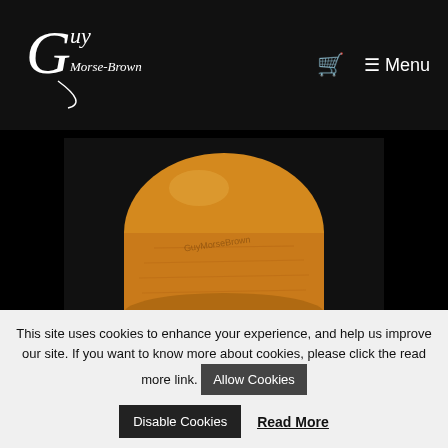Guy Morse-Brown — Cart — Menu
[Figure (photo): A wooden crown hat block (CB6) photographed against a black background, showing a dome-shaped wood form in warm amber/orange tones with visible grain and maker's mark watermark.]
CB6 – Crown Block
£107.50
View product
This site uses cookies to enhance your experience, and help us improve our site. If you want to know more about cookies, please click the read more link.
Allow Cookies
Disable Cookies
Read More